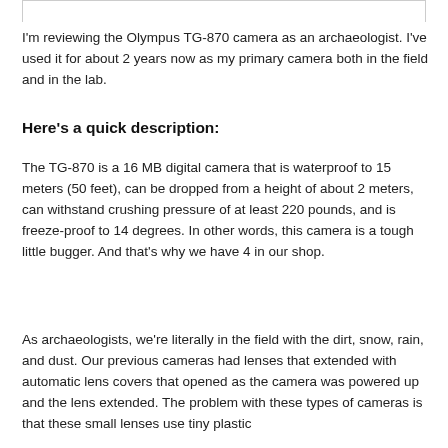I'm reviewing the Olympus TG-870 camera as an archaeologist. I've used it for about 2 years now as my primary camera both in the field and in the lab.
Here's a quick description:
The TG-870 is a 16 MB digital camera that is waterproof to 15 meters (50 feet), can be dropped from a height of about 2 meters, can withstand crushing pressure of at least 220 pounds, and is freeze-proof to 14 degrees. In other words, this camera is a tough little bugger. And that's why we have 4 in our shop.
As archaeologists, we're literally in the field with the dirt, snow, rain, and dust. Our previous cameras had lenses that extended with automatic lens covers that opened as the camera was powered up and the lens extended. The problem with these types of cameras is that these small lenses use tiny plastic